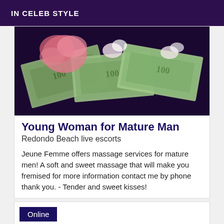IN CELEB STYLE
[Figure (photo): Photo of US dollar bills fanned out with pink rose petals and white flowers on top, on a dark purple background]
Young Woman for Mature Man
Redondo Beach live escorts
Jeune Femme offers massage services for mature men! A soft and sweet massage that will make you fremised for more information contact me by phone thank you. - Tender and sweet kisses!
Online